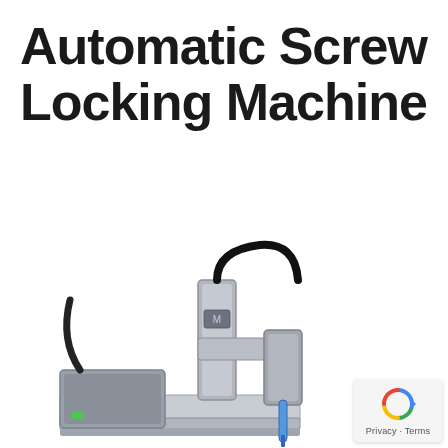Automatic Screw Locking Machine
[Figure (photo): An automatic screw locking machine with a metal frame, linear rail, motorized spindle head with blue screwdriver bit, and a black cable running from the top of the unit.]
[Figure (logo): Google reCAPTCHA badge with Privacy and Terms links]